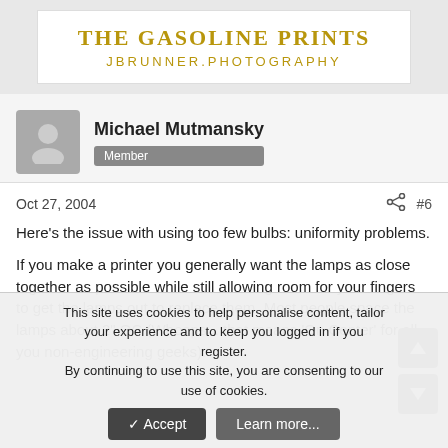[Figure (logo): The Gasoline Prints logo with text 'THE GASOLINE PRINTS' and 'JBRUNNER.PHOTOGRAPHY' in gold on white background]
Michael Mutmansky
Member
Oct 27, 2004
#6
Here's the issue with using too few bulbs: uniformity problems.

If you make a printer you generally want the lamps as close together as possible while still allowing room for your fingers to get the lamps out to replace them. Most people space the lamps about 2" OC (Whoops... that means 'On Center' for all you non-engineering geeks).
This site uses cookies to help personalise content, tailor your experience and to keep you logged in if you register.
By continuing to use this site, you are consenting to our use of cookies.